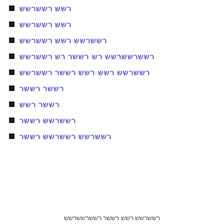קקק קקקקקק
קקק קקקקקק
קקקקקק קקק קקקקקק
קקקקקקקק קק קקקק קק קקקקקק
קקקקקק קקק קקק קקקק קקקקקק
קקקק קקקק
קקקק קקק
קקקקקק קקקק
קקקקקק קקקקקק קקקק
קקקקקק קקק קקקק קקקקקקקק